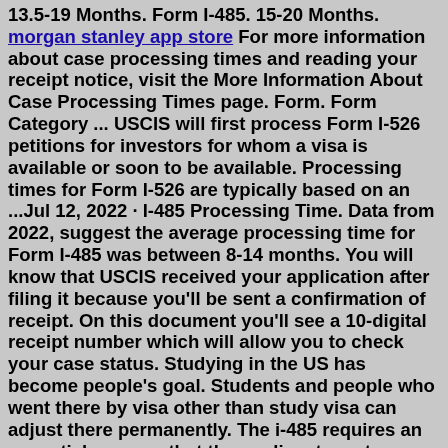13.5-19 Months. Form I-485. 15-20 Months. morgan stanley app store For more information about case processing times and reading your receipt notice, visit the More Information About Case Processing Times page. Form. Form Category ... USCIS will first process Form I-526 petitions for investors for whom a visa is available or soon to be available. Processing times for Form I-526 are typically based on an ...Jul 12, 2022 · I-485 Processing Time. Data from 2022, suggest the average processing time for Form I-485 was between 8-14 months. You will know that USCIS received your application after filing it because you'll be sent a confirmation of receipt. On this document you'll see a 10-digital receipt number which will allow you to check your case status. Studying in the US has become people's goal. Students and people who went there by visa other than study visa can adjust there permanently. The i-485 requires an essential process that the applicant must go through effectively. Application i-485 is also called … I-485 Approved Without Interview [Apply Green Card Process] Read